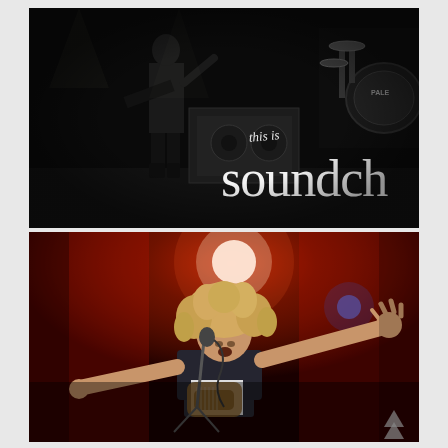[Figure (photo): Concert photograph of performer in dark attire on stage against black background with drum kit visible. Overlaid text reads 'this is soundch' in mixed handwritten and large display typeface.]
[Figure (photo): Concert photograph of curly-haired guitarist/vocalist performing on stage under dramatic red lighting, arms outstretched, with microphone stand and guitar visible.]